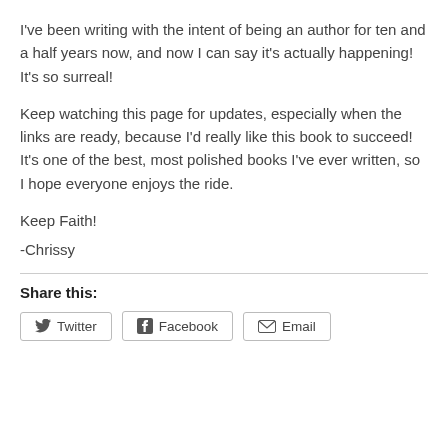I've been writing with the intent of being an author for ten and a half years now, and now I can say it's actually happening! It's so surreal!
Keep watching this page for updates, especially when the links are ready, because I'd really like this book to succeed! It's one of the best, most polished books I've ever written, so I hope everyone enjoys the ride.
Keep Faith!
-Chrissy
Share this: